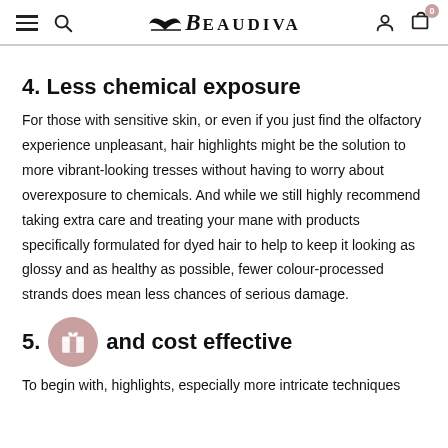BEAUDIVA navigation header with menu, search, account, and cart icons
4. Less chemical exposure
For those with sensitive skin, or even if you just find the olfactory experience unpleasant, hair highlights might be the solution to more vibrant-looking tresses without having to worry about overexposure to chemicals. And while we still highly recommend taking extra care and treating your mane with products specifically formulated for dyed hair to help to keep it looking as glossy and as healthy as possible, fewer colour-processed strands does mean less chances of serious damage.
5. [gift icon] and cost effective
To begin with, highlights, especially more intricate techniques